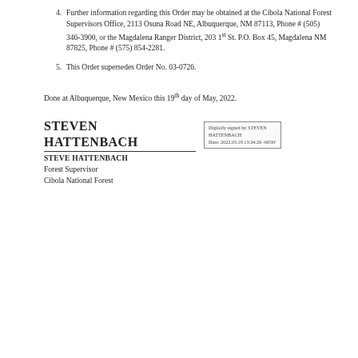4. Further information regarding this Order may be obtained at the Cibola National Forest Supervisors Office, 2113 Osuna Road NE, Albuquerque, NM 87113, Phone # (505) 346-3900, or the Magdalena Ranger District, 203 1st St. P.O. Box 45, Magdalena NM 87825, Phone # (575) 854-2281.
5. This Order supersedes Order No. 03-0726.
Done at Albuquerque, New Mexico this 19th day of May, 2022.
STEVEN HATTENBACH
Digitally signed by STEVEN HATTENBACH
Date: 2022.05.19 13:34:26 -06'00'
STEVE HATTENBACH
Forest Supervisor
Cibola National Forest